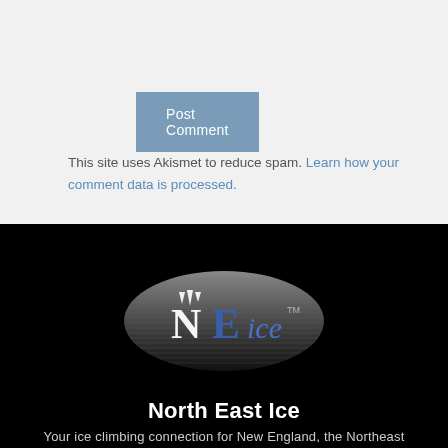Post Comment
This site uses Akismet to reduce spam. Learn how your comment data is processed.
[Figure (logo): NEice logo — oval metallic dark background with stylized 'NEice' text and icicles, trademark symbol]
North East Ice
Your ice climbing connection for New England, the Northeast